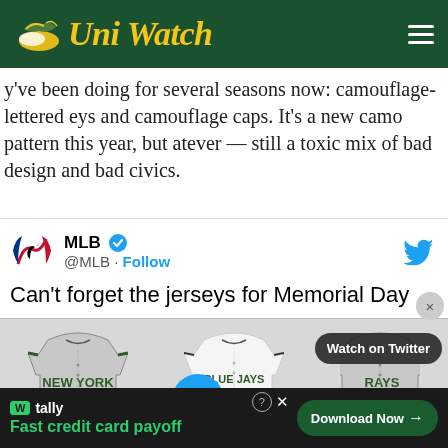Uni Watch
y've been doing for several seasons now: camouflage-lettered eys and camouflage caps. It's a new camo pattern this year, but atever — still a toxic mix of bad design and bad civics.
[Figure (screenshot): Embedded MLB tweet showing Memorial Day jerseys. MLB verified account (@MLB) with Follow link. Tweet text: Can't forget the jerseys for Memorial Day … Shows three MLB jerseys: New York (grey), Blue Jays (white), Rays (grey) with a play button overlay and Watch on Twitter button.]
[Figure (other): Advertisement for Tally app: Fast credit card payoff. Download Now button.]